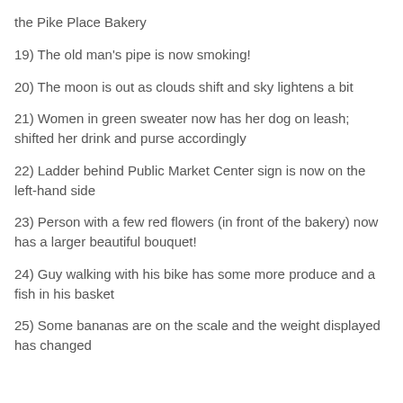the Pike Place Bakery
19) The old man's pipe is now smoking!
20) The moon is out as clouds shift and sky lightens a bit
21) Women in green sweater now has her dog on leash; shifted her drink and purse accordingly
22) Ladder behind Public Market Center sign is now on the left-hand side
23) Person with a few red flowers (in front of the bakery) now has a larger beautiful bouquet!
24) Guy walking with his bike has some more produce and a fish in his basket
25) Some bananas are on the scale and the weight displayed has changed